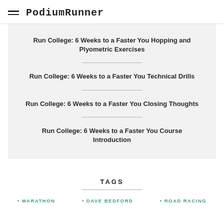PodiumRunner
Run College: 6 Weeks to a Faster You Hopping and Plyometric Exercises
Run College: 6 Weeks to a Faster You Technical Drills
Run College: 6 Weeks to a Faster You Closing Thoughts
Run College: 6 Weeks to a Faster You Course Introduction
TAGS
MARATHON • DAVE BEDFORD • ROAD RACING